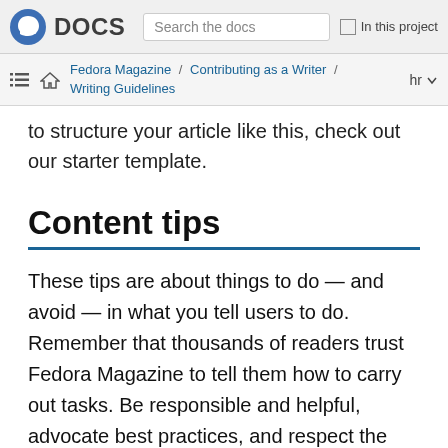DOCS | Search the docs | In this project
Fedora Magazine / Contributing as a Writer / Writing Guidelines | hr
to structure your article like this, check out our starter template.
Content tips
These tips are about things to do — and avoid — in what you tell users to do. Remember that thousands of readers trust Fedora Magazine to tell them how to carry out tasks. Be responsible and helpful, advocate best practices, and respect the user's security and choice.